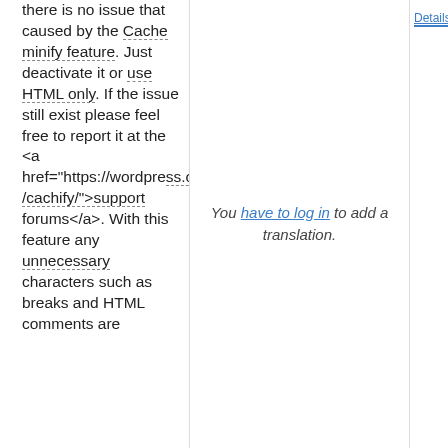Please make sure there is no issue that caused by the Cache minify feature. Just deactivate it or use HTML only. If the issue still exist please feel free to report it at the <a href="https://wordpress.org/support/plugin/cachify/">support forums</a>. With this feature any unnecessary characters such as breaks and HTML comments are removed from the
You have to log in to add a translation.
Details